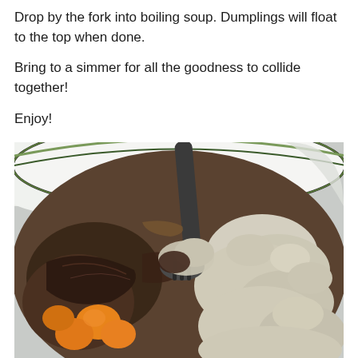Drop by the fork into boiling soup. Dumplings will float to the top when done.
Bring to a simmer for all the goodness to collide together!
Enjoy!
[Figure (photo): Close-up photo of a bowl of soup with dumplings, vegetables (carrots, onions), and meat, with a spoon/fork visible in the bowl.]